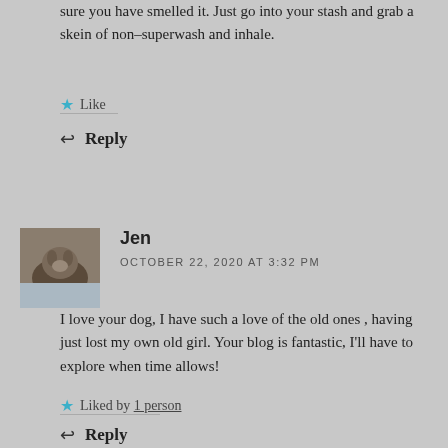sure you have smelled it. Just go into your stash and grab a skein of non-superwash and inhale.
Like
Reply
[Figure (photo): Avatar photo of commenter Jen showing a dog]
Jen
OCTOBER 22, 2020 AT 3:32 PM
I love your dog, I have such a love of the old ones , having just lost my own old girl. Your blog is fantastic, I'll have to explore when time allows!
Liked by 1 person
Reply